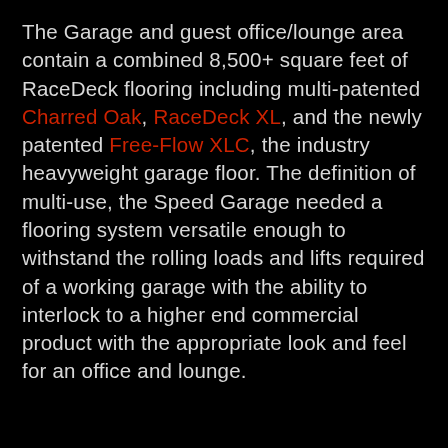The Garage and guest office/lounge area contain a combined 8,500+ square feet of RaceDeck flooring including multi-patented Charred Oak, RaceDeck XL, and the newly patented Free-Flow XLC, the industry heavyweight garage floor. The definition of multi-use, the Speed Garage needed a flooring system versatile enough to withstand the rolling loads and lifts required of a working garage with the ability to interlock to a higher end commercial product with the appropriate look and feel for an office and lounge.